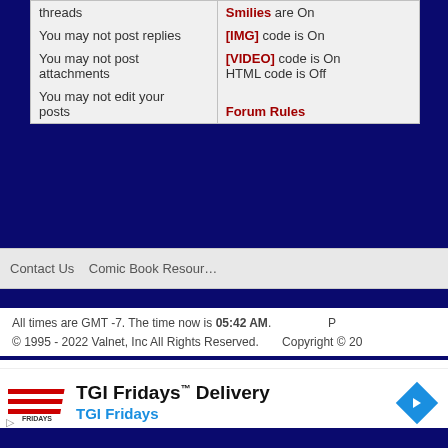| threads | Smilies are On |
| You may not post replies | [IMG] code is On |
| You may not post attachments | [VIDEO] code is On
HTML code is Off |
| You may not edit your posts | Forum Rules |
Contact Us  Comic Book Resources
All times are GMT -7. The time now is 05:42 AM.
© 1995 - 2022 Valnet, Inc All Rights Reserved.
Copyright © 20...
[Figure (illustration): TGI Fridays advertisement banner with logo, text 'TGI Fridays Delivery', subtitle 'TGI Fridays', and a blue diamond arrow icon]